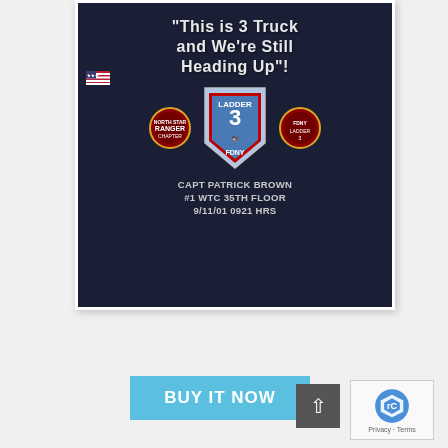[Figure (photo): Photo of a dark navy blue t-shirt displayed on a person. The shirt has white text reading "THIS IS 3 TRUCK AND WE'RE STILL HEADING UP"! and features an FDNY Ladder 3 patch in the center flanked by two circular patches. Below the patches, text reads: CAPT PATRICK BROWN #1 WTC 35TH FLOOR 9/11/01 0921 HRS. A small US flag patch is on the left sleeve.]
[Figure (screenshot): A blue 'BUY IT NOW' button, a gray back-to-top arrow button, and a reCAPTCHA widget showing the Google reCAPTCHA logo with 'Privacy - Terms' text.]